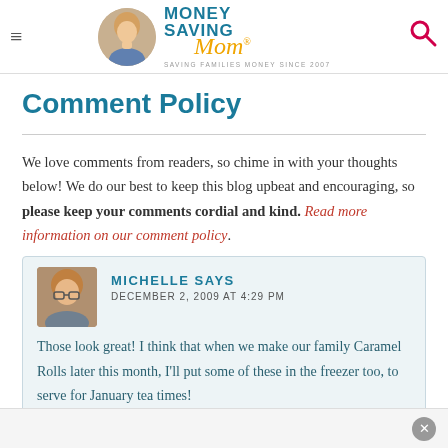Money Saving Mom - SAVING FAMILIES MONEY SINCE 2007
Comment Policy
We love comments from readers, so chime in with your thoughts below! We do our best to keep this blog upbeat and encouraging, so please keep your comments cordial and kind. Read more information on our comment policy.
[Figure (photo): Comment by Michelle, December 2, 2009 at 4:29 PM with avatar photo, text: Those look great! I think that when we make our family Caramel Rolls later this month, I'll put some of these in the freezer too, to serve for January tea times!]